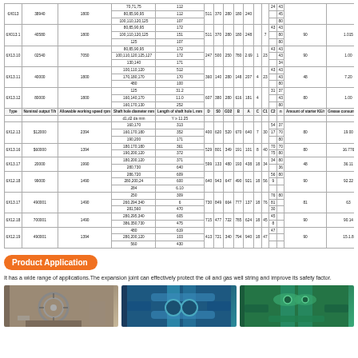| Type | Nominal output T/h | Allowable working speed rpm | Shaft hole diameter mm | Length of shaft hole L mm | D | S0 | GD2 | B | A | C | C1 | C2 | n | Amount of starter KE/r | Grease consumption g/t | Weight kg |
| --- | --- | --- | --- | --- | --- | --- | --- | --- | --- | --- | --- | --- | --- | --- | --- | --- |
| 6X013 | 38940 | 1800 | 70,71,75
80,85,90,95
100,110,120,125 | 112
112
107 | 511 | 370 | 280 | 180 | 240 |  |  |  |  |  |  |  |
| 6X013.1 | 40580 | 7050 | 80,85,90,95
100,110,120,125 | 172
0.9
151 | 251 | 500 | 250 | 780 | 2.69 | 1 | 23 | 43
80 | 80 | 1.015 | 796 | 149 |
| 6X13.10 | 02540 | 7050 | 80,85,90,95
100,110,120,125
130,140 | 172
172
171 | 247 | 500 | 250 | 780 | 2.69 | 1 | 23 | 43
80 | 84 | 1.00 | 990 | 192.7 |
| 6X13.11 | 40000 | 1800 | 100,110,120
170,180,170
480 | 512
170
100 | 360 | 140 | 280 | 148 | 207 | 4 | 23 | 43
44
80 | 48 | 7.20 | 1009 | 277.1 |
| 6X13.12 | 80000 | 1800 | 125
160,140,170
160,170,130 | 31.2
11.0
242
252 | 607 | 380 | 280 | 616 | 181 | 4 |  | 31
43
80
 | 80 | 1.00 | 2090 | 583.1 |
| Type | Nominal output T/h | Allowable working speed rpm | Shaft hole diameter mm | Length of shaft hole L mm | D | S0 | GD2 | B | A | C | C1 | C2 | n | Amount of starter KE/r | Grease consumption g/t | Weight kg |
| 6X12.13 | $12000 | 2394 | 160,170
160,170,180
190,200 | 313
352
171 | 400 | 620 | 520 | 670 | 640 | 7 | 30
17
80 | 80 | 19.00 | 9990 | 825.3 |
| 6X13.16 | $60000 | 1394 | 180,170,180
190,200,120 | 361
372 | 529 | 801 | 349 | 191 | 101 | 8 | 40
70
75
80 | 80 | 16.776 | 9990 | 993.9 |
| 6X13.17 | 20000 | 1990 | 180,200,120
280,730 | 371
640 | 599 | 133 | 480 | 193 | 438 | 18 | 34
80 |  | 36.11 | 9990 | 783.7 |
| 6X12.18 | 99000 | 1490 | 286,720
280,200,24
284 | 609
600
6.10 | 640 | 943 | 647 | 490 | 921 | 18 | 56
9 | 90 | 92.22 | 9990 | 1029.8 |
| 6X13.17 | 490001 | 1490 | 250
260,294,340
281,560 | 309
6
470 | 730 | 849 | 664 | 777 | 137 | 18 | 76
81
30 | 81 | 63 | 10900 | 1307 |
| 6X12.18 | 700001 | 1490 | 280,295,340
386,350,730 | 605
475 | 715 | 477 | 722 | 785 | 624 | 18 | 45
8 | 90 | 90.14 | 11090 | 1013 |
| 6X12.19 | 490001 | 1394 | 480
280,200,120
560 | 619
103
430 | 413 | 721 | 340 | 794 | 940 | 18 | 47 | 90 | 15.1.8 | 11090 | 1771 |
Product Application
It has a wide range of applications.The expansion joint can effectively protect the oil and gas well string and improve its safety factor.
[Figure (photo): Industrial pressure gauge / equipment photo]
[Figure (photo): Industrial pipe/valve system photo with blue-green coloring]
[Figure (photo): Industrial green valve/pipe equipment photo]